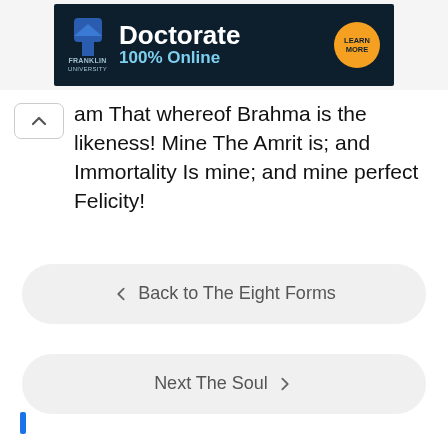[Figure (other): Franklin University advertisement banner: dark navy background with Franklin University logo, 'Doctorate' in large bold white text, '100% Online' in blue text, and 'LEARN MORE' in an orange circle button]
am That whereof Brahma is the likeness! Mine The Amrit is; and Immortality Is mine; and mine perfect Felicity!
Back to The Eight Forms
Next The Soul